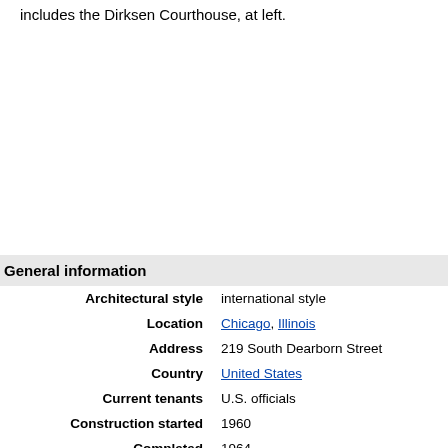includes the Dirksen Courthouse, at left.
| General information |  |
| --- | --- |
| Architectural style | international style |
| Location | Chicago, Illinois |
| Address | 219 South Dearborn Street |
| Country | United States |
| Current tenants | U.S. officials |
| Construction started | 1960 |
| Completed | 1964 |
| Client | U.S. government |
| Height | 384 feet (117 m) |